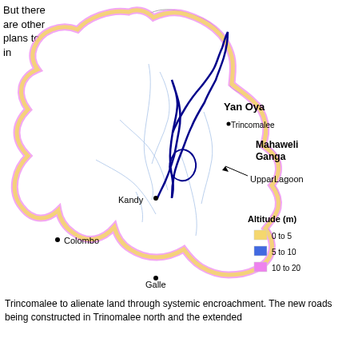But there are other plans to in
[Figure (map): Map of Sri Lanka showing altitude zones (0-5m, 5-10m, 10-20m) with labeled locations: Yan Oya, Trincomalee, Mahaweli Ganga, Uppar Lagoon, Kandy, Colombo, Galle. Blue river system (Mahaweli Ganga) prominently shown. Legend shows Altitude (m): 0 to 5 (yellow), 5 to 10 (blue), 10 to 20 (pink).]
Trincomalee to alienate land through systemic encroachment. The new roads being constructed in Trinomalee north and the extended